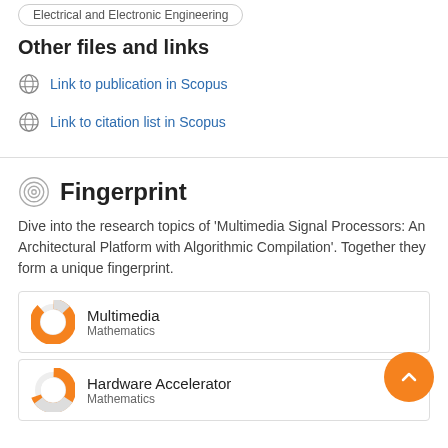Electrical and Electronic Engineering
Other files and links
Link to publication in Scopus
Link to citation list in Scopus
Fingerprint
Dive into the research topics of 'Multimedia Signal Processors: An Architectural Platform with Algorithmic Compilation'. Together they form a unique fingerprint.
Multimedia
Mathematics
Hardware Accelerator
Mathematics